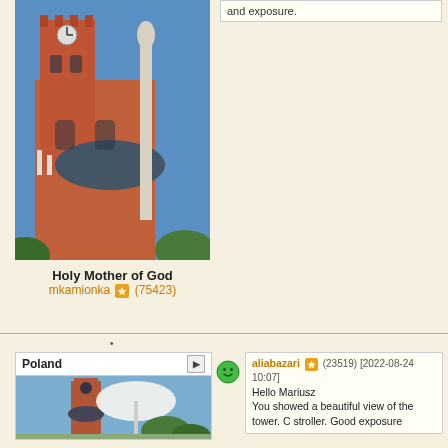[Figure (photo): Photograph of a red brick church with a tower and a statue on a column in front, blue sky background]
and exposure.
Holy Mother of God
mkamionka (75423)
[Figure (screenshot): Poland map card with photo of a church tower and market square]
[Figure (illustration): Green smiley face emoticon]
aliabazari (23519) [2022-08-24 10:07]
Hello Mariusz
You showed a beautiful view of the tower. C stroller. Good exposure